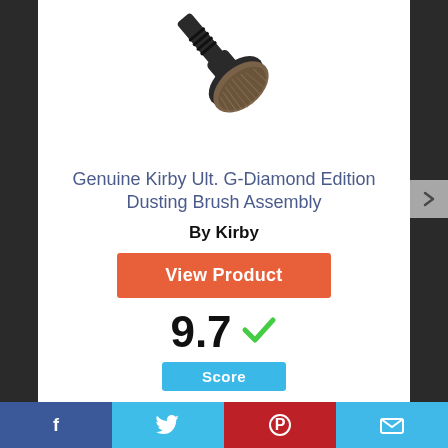[Figure (photo): Genuine Kirby dusting brush assembly product photo — a round brush with dark bristles on an angled black handle with ribbed grip]
Genuine Kirby Ult. G-Diamond Edition Dusting Brush Assembly
By Kirby
View Product
9.7 ✓
Score
Facebook | Twitter | Pinterest | Email